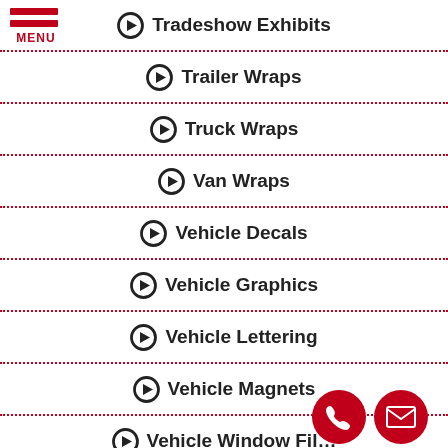[Figure (other): Hamburger menu icon with red bars and MENU label]
Tradeshow Exhibits
Trailer Wraps
Truck Wraps
Van Wraps
Vehicle Decals
Vehicle Graphics
Vehicle Lettering
Vehicle Magnets
Vehicle Window Film